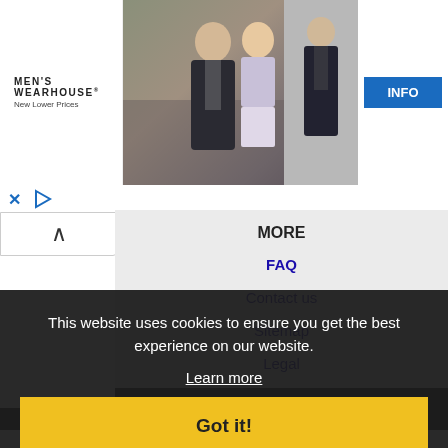[Figure (screenshot): Men's Wearhouse advertisement banner showing a couple in formal wedding attire and a man in a dark suit, with an INFO button]
MEN'S WEARHOUSE®
New Lower Prices
MORE
FAQ
Contact us
Sitemap
Legal
Privacy
NEARBY CITIES
...ejo, CA Jobs
Apple Valley, CA Jobs
...lexico, CA Jobs
Carlsbad, CA Jobs
Cathedral City, CA Jobs
This website uses cookies to ensure you get the best experience on our website.
Learn more
Got it!